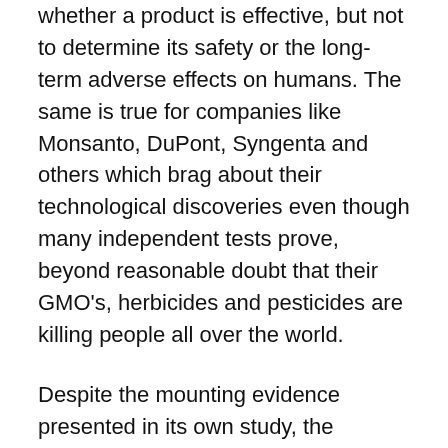whether a product is effective, but not to determine its safety or the long-term adverse effects on humans. The same is true for companies like Monsanto, DuPont, Syngenta and others which brag about their technological discoveries even though many independent tests prove, beyond reasonable doubt that their GMO's, herbicides and pesticides are killing people all over the world.
Despite the mounting evidence presented in its own study, the skyrocketing incidence of disease in the last 50 years and the growing trends that show how EDC's are more and more involved in causing adverse effects on human populations, the WHO again limits the relation between EDC's and disease as a matter of association, instead of going beyond and calling it a matter of cause and effect. The report says that human studies can show associations only. But what happens when those associations continue